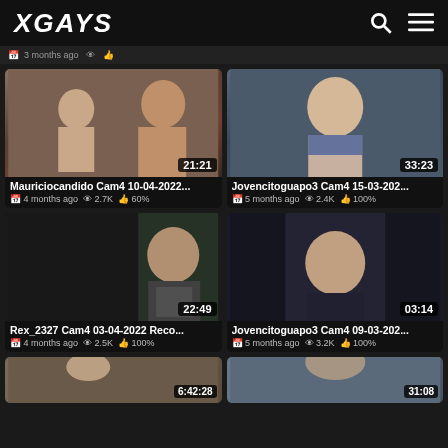XGAYS
[Figure (screenshot): Video thumbnail with duration 21:21]
Mauriciocandido Cam4 10-04-2022...
4 months ago   2.7K   60%
[Figure (screenshot): Video thumbnail with duration 33:23]
Jovencitoguapo3 Cam4 15-03-202...
5 months ago   2.4K   100%
[Figure (screenshot): Video thumbnail with duration 22:49]
Rex_2327 Cam4 03-04-2022 Reco...
4 months ago   2.5K   100%
[Figure (screenshot): Video thumbnail with duration 03:14]
Jovencitoguapo3 Cam4 09-03-202...
5 months ago   3.2K   100%
[Figure (screenshot): Partial video thumbnail with duration 6:42:28]
[Figure (screenshot): Partial video thumbnail with duration 31:08]